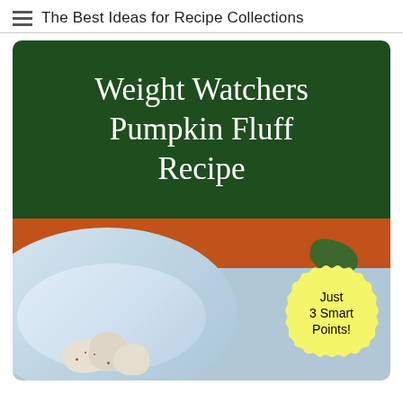The Best Ideas for Recipe Collections
[Figure (illustration): Recipe card image with dark green background showing 'Weight Watchers Pumpkin Fluff Recipe' in white serif text, with a photo of a blue/white bowl containing pumpkin fluff dessert topped with whipped cream, and a yellow scalloped badge reading 'Just 3 Smart Points!']